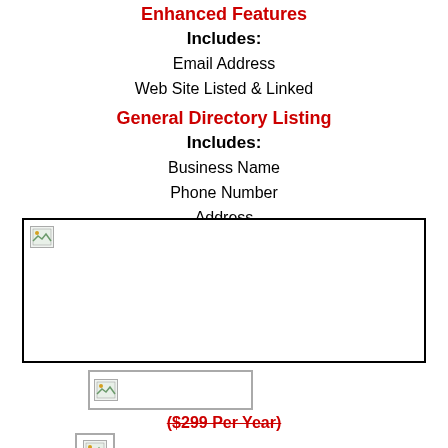Enhanced Features
Includes:
Email Address
Web Site Listed & Linked
General Directory Listing
Includes:
Business Name
Phone Number
Address
City, State Zip
[Figure (other): Large placeholder image box with a small broken image icon in the top-left corner]
[Figure (other): Small horizontal placeholder image box with a broken image icon]
($299 Per Year)
[Figure (other): Small square placeholder image box with a broken image icon]